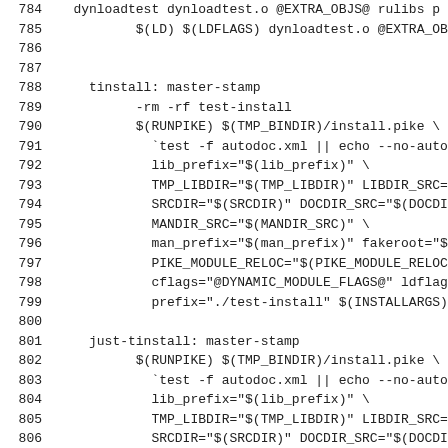784   dynloadtest dynloadtest.o @EXTRA_OBJS@ rulibs p
785           $(LD) $(LDFLAGS) dynloadtest.o @EXTRA_OBJS
786
787
788     tinstall: master-stamp
789           -rm -rf test-install
790           $(RUNPIKE) $(TMP_BINDIR)/install.pike \
791             `test -f autodoc.xml || echo --no-autodd
792             lib_prefix="$(lib_prefix)" \
793             TMP_LIBDIR="$(TMP_LIBDIR)" LIBDIR_SRC="$
794             SRCDIR="$(SRCDIR)" DOCDIR_SRC="$(DOCDIR_
795             MANDIR_SRC="$(MANDIR_SRC)" \
796             man_prefix="$(man_prefix)" fakeroot="$(b
797             PIKE_MODULE_RELOC="$(PIKE_MODULE_RELOC)'
798             cflags="@DYNAMIC_MODULE_FLAGS@" ldflags=
799             prefix="./test-install" $(INSTALLARGS)
800
801     just-tinstall: master-stamp
802           $(RUNPIKE) $(TMP_BINDIR)/install.pike \
803             `test -f autodoc.xml || echo --no-autodd
804             lib_prefix="$(lib_prefix)" \
805             TMP_LIBDIR="$(TMP_LIBDIR)" LIBDIR_SRC="$
806             SRCDIR="$(SRCDIR)" DOCDIR_SRC="$(DOCDIR_
807             MANDIR_SRC="$(MANDIR_SRC)" \
808             man_prefix="$(man_prefix)" fakeroot="$(b
809             PIKE_MODULE_RELOC="$(PIKE_MODULE_RELOC)'
810             cflags="@DYNAMIC_MODULE_FLAGS@" ldflags=